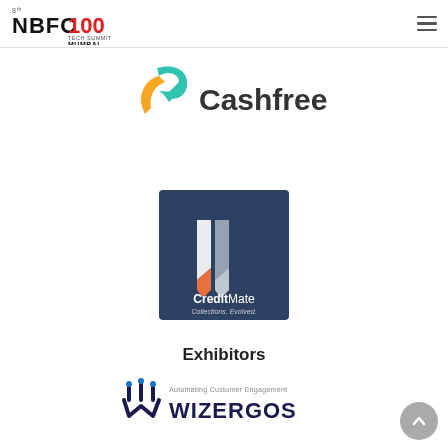NBFC 100 Tech Summit Mumbai
[Figure (logo): Cashfree logo with teal and gold stylized 'F' mark and 'Cashfree' text in dark gray]
[Figure (logo): CreditMate logo on dark blue square background with stylized white and orange credit card icon, text 'CreditMate Collections. Evolved.']
Exhibitors
[Figure (logo): Wizergos logo with dark antenna-style 'W' mark and 'WIZERGOS' text, tagline 'Automating Customer Engagement']